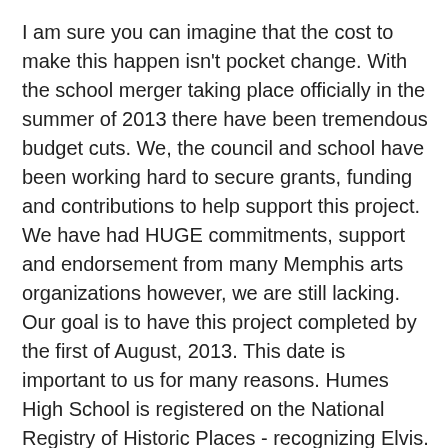I am sure you can imagine that the cost to make this happen isn't pocket change. With the school merger taking place officially in the summer of 2013 there have been tremendous budget cuts. We, the council and school have been working hard to secure grants, funding and contributions to help support this project. We have had HUGE commitments, support and endorsement from many Memphis arts organizations however, we are still lacking. Our goal is to have this project completed by the first of August, 2013. This date is important to us for many reasons. Humes High School is registered on the National Registry of Historic Places - recognizing Elvis. We have a historical marker in Nashville that will be here and placed in front of the school in August.
We need all the help that we can get to make this happen. We are asking for fundraisers, contributions and any other support and endorsement from those